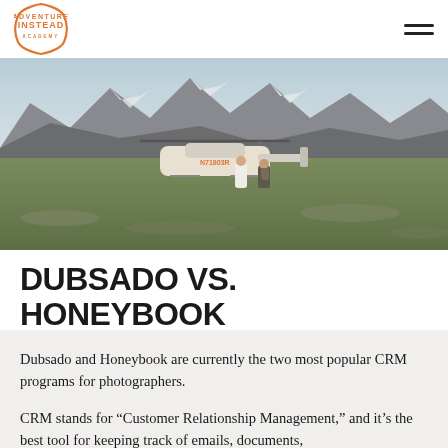Adventure Instead Academy — navigation header with logo and hamburger menu
[Figure (photo): Couple walking toward a helicopter on a rocky alpine meadow with snow-capped mountains in the background. One person in a white wedding dress, the other in casual outdoor gear.]
DUBSADO VS. HONEYBOOK
Dubsado and Honeybook are currently the two most popular CRM programs for photographers.
CRM stands for “Customer Relationship Management,” and it’s the best tool for keeping track of emails, documents,